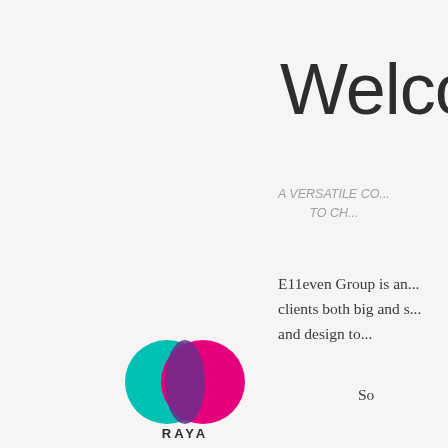Welcome
A VERSATILE CO...
TO CH...
E11even Group is an...
clients both big and s...
and design to...
So
[Figure (logo): RAYA logo - two overlapping circles in teal and magenta with purple overlap, with text RAYA below]
[Figure (logo): CIPRIANI logo - owl illustration above text CIPRIANI in bold caps]
[Figure (logo): Partial third logo visible at right edge]